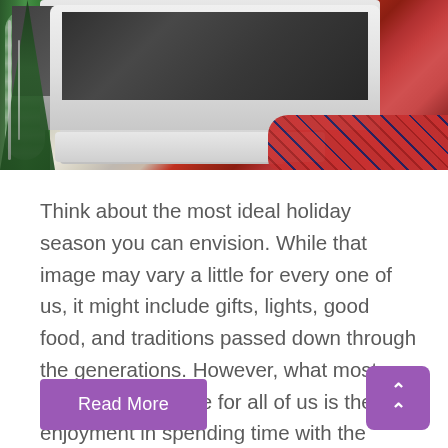[Figure (photo): Person in red plaid shirt typing on Apple keyboard in front of iMac monitor, with Christmas garland decoration visible on the left side of the frame.]
Think about the most ideal holiday season you can envision. While that image may vary a little for every one of us, it might include gifts, lights, good food, and traditions passed down through the generations. However, what most certainly holds true for all of us is the enjoyment in spending time with the people [...]
Read More